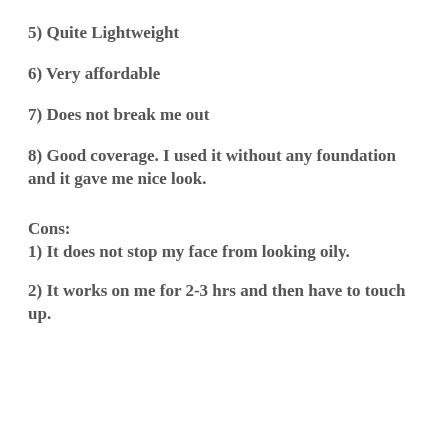5) Quite Lightweight
6) Very affordable
7) Does not break me out
8) Good coverage. I used it without any foundation and it gave me nice look.
Cons:
1) It does not stop my face from looking oily.
2) It works on me for 2-3 hrs and then have to touch up.